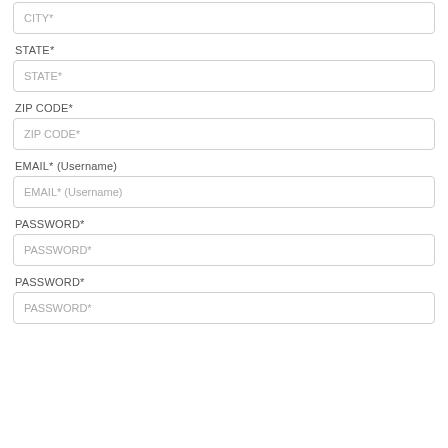CITY*
STATE*
STATE*
ZIP CODE*
ZIP CODE*
EMAIL* (Username)
EMAIL* (Username)
PASSWORD*
PASSWORD*
PASSWORD*
PASSWORD*